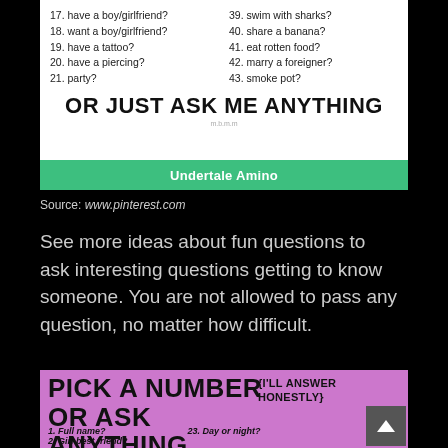[Figure (screenshot): White card with numbered list items (17-21 on left, 39-43 on right) and bold text 'OR JUST ASK ME ANYTHING' with a green Undertale Amino bar at the bottom]
Source: www.pinterest.com
See more ideas about fun questions to ask interesting questions getting to know someone. You are not allowed to pass any question, no matter how difficult.
[Figure (screenshot): Purple/pink card with bold text 'PICK A NUMBER OR ASK ANYTHING' and '{I'LL ANSWER HONESTLY}' with numbered questions including '1. Full name?' '2. Girl best friend?' '23. Day or night?']